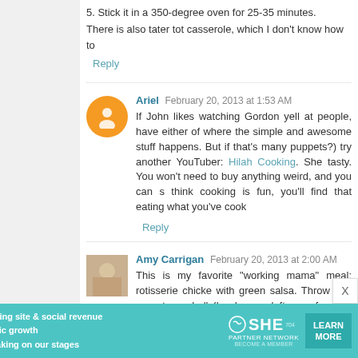5. Stick it in a 350-degree oven for 25-35 minutes.
There is also tater tot casserole, which I don't know how to
Reply
Ariel  February 20, 2013 at 1:53 AM
If John likes watching Gordon yell at people, have either of where the simple and awesome stuff happens. But if that's many puppets?) try another YouTuber: Hilah Cooking. She tasty. You won't need to buy anything weird, and you can s think cooking is fun, you'll find that eating what you've cook
Reply
Amy Carrigan  February 20, 2013 at 2:00 AM
This is my favorite "working mama" meal: rotisserie chicke with green salsa. Throw that on a taco shell (hard or so leftovers for taco salad. :-)
Reply
[Figure (infographic): SHE Partner Network advertisement banner with teal background, woman photo, bullet points, logo, and Learn More button]